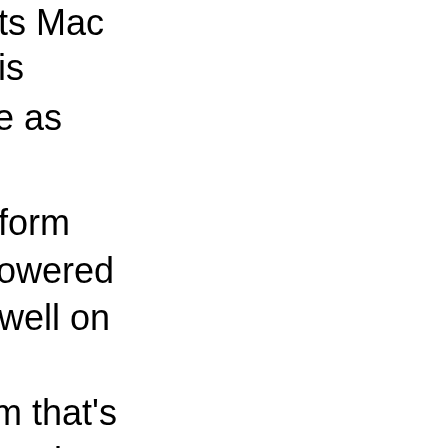gn its Mac
ing is
xible as
platform
is powered
rks well on
tform that's
ure and
x and